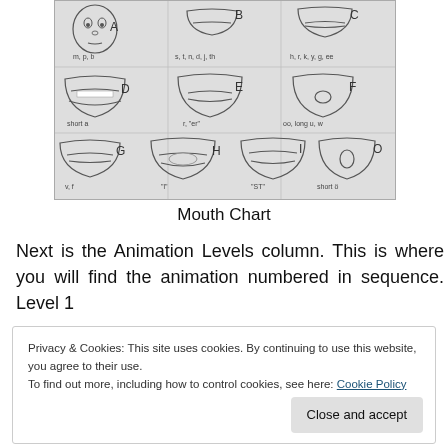[Figure (illustration): Mouth chart diagram showing 9 labeled mouth positions (A through O) for phonemes. Row 1: A (m,p,b) full face, B (s,t,n,d,j,th) mouth shape, C (h,r,k,y,g,ee) mouth shape. Row 2: D (short a), E (r, 'er'), F (oo, long u, w). Row 3: G (v,f), H ('l'), I ('ST'), O (short e).]
Mouth Chart
Next is the Animation Levels column. This is where you will find the animation numbered in sequence. Level 1
Privacy & Cookies: This site uses cookies. By continuing to use this website, you agree to their use.
To find out more, including how to control cookies, see here: Cookie Policy